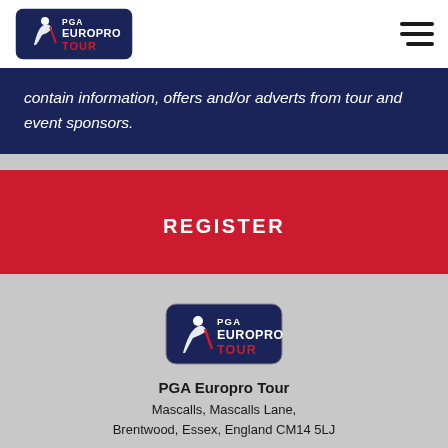[Figure (logo): PGA EuroPro Tour logo in white on dark navy rounded rectangle, with golfer silhouette]
[Figure (other): Hamburger menu icon — three horizontal dark bars]
contain information, offers and/or adverts from tour and event sponsors.
REGISTER
[Figure (logo): PGA EuroPro Tour logo in white on dark navy rounded rectangle, with golfer silhouette — footer version]
PGA Europro Tour
Mascalls, Mascalls Lane,
Brentwood, Essex, England CM14 5LJ